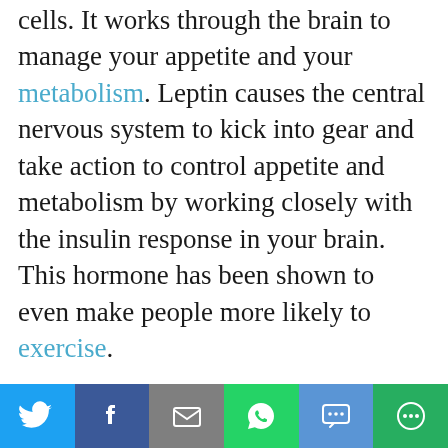cells. It works through the brain to manage your appetite and your metabolism. Leptin causes the central nervous system to kick into gear and take action to control appetite and metabolism by working closely with the insulin response in your brain. This hormone has been shown to even make people more likely to exercise.
What Leptin Does
Leptin works to signal your brain to
[Figure (other): Social sharing bar with Twitter, Facebook, Email, WhatsApp, SMS, and More buttons]